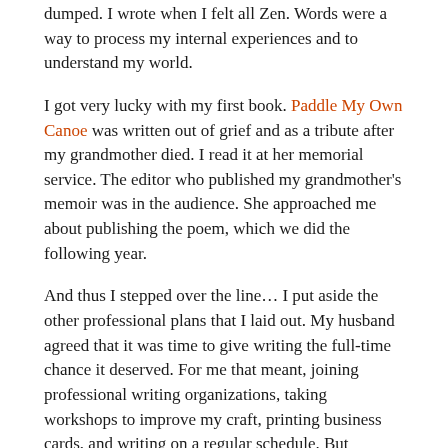dumped. I wrote when I felt all Zen. Words were a way to process my internal experiences and to understand my world.
I got very lucky with my first book. Paddle My Own Canoe was written out of grief and as a tribute after my grandmother died. I read it at her memorial service. The editor who published my grandmother's memoir was in the audience. She approached me about publishing the poem, which we did the following year.
And thus I stepped over the line… I put aside the other professional plans that I laid out. My husband agreed that it was time to give writing the full-time chance it deserved. For me that meant, joining professional writing organizations, taking workshops to improve my craft, printing business cards, and writing on a regular schedule. But perhaps the most important step was claiming the title.